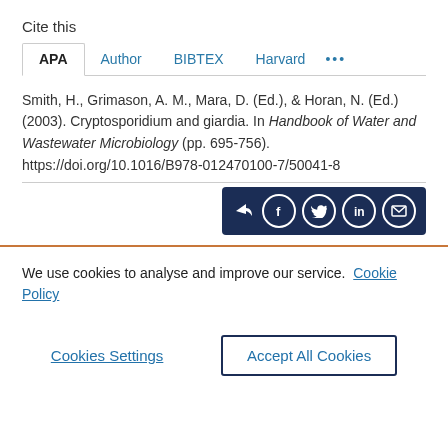Cite this
APA  Author  BIBTEX  Harvard  ...
Smith, H., Grimason, A. M., Mara, D. (Ed.), & Horan, N. (Ed.) (2003). Cryptosporidium and giardia. In Handbook of Water and Wastewater Microbiology (pp. 695-756). https://doi.org/10.1016/B978-012470100-7/50041-8
[Figure (other): Share icons bar with share, Facebook, Twitter, LinkedIn, and email buttons on dark navy background]
We use cookies to analyse and improve our service. Cookie Policy
Cookies Settings    Accept All Cookies